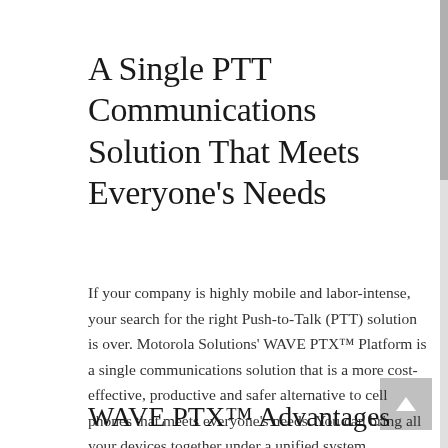A Single PTT Communications Solution That Meets Everyone's Needs
If your company is highly mobile and labor-intense, your search for the right Push-to-Talk (PTT) solution is over. Motorola Solutions' WAVE PTX™ Platform is a single communications solution that is a more cost-effective, productive and safer alternative to cell phones that meets everyone's needs. You can bring all your devices together under a unified system.
WAVE PTX™ Advantages